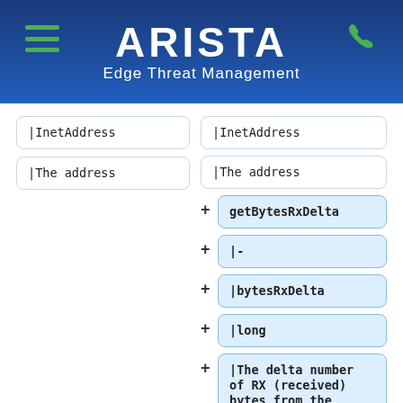ARISTA Edge Threat Management
|InetAddress
|The address
|InetAddress
|The address
getBytesRxDelta
|-
|bytesRxDelta
|long
|The delta number of RX (received) bytes from the previous event
getBytesRxTotal